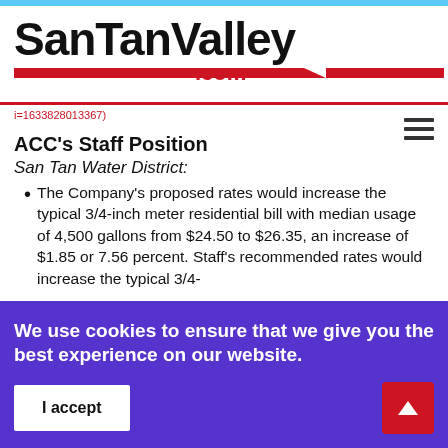SanTanValley.com
i=1633828013367)
ACC's Staff Position
San Tan Water District:
The Company's proposed rates would increase the typical 3/4-inch meter residential bill with median usage of 4,500 gallons from $24.50 to $26.35, an increase of $1.85 or 7.56 percent. Staff's recommended rates would increase the typical 3/4-
We use cookies to ensure that we give you the best experience on our website.